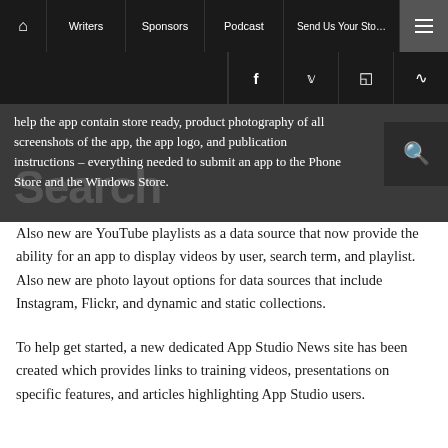Home | Writers | Sponsors | Podcast | Send Us Your Story | Menu
[Figure (screenshot): Website navigation bar with dark background showing home icon, Writers, Sponsors, Podcast, Send Us Your Story links and hamburger menu button, plus social bar with Facebook, Twitter, Instagram, RSS icons]
help the app contain store ready, product photography of all screenshots of the app, the app logo, and publication instructions – everything needed to submit an app to the Phone Store and the Windows Store.
Also new are YouTube playlists as a data source that now provide the ability for an app to display videos by user, search term, and playlist. Also new are photo layout options for data sources that include Instagram, Flickr, and dynamic and static collections.
To help get started, a new dedicated App Studio News site has been created which provides links to training videos, presentations on specific features, and articles highlighting App Studio users.